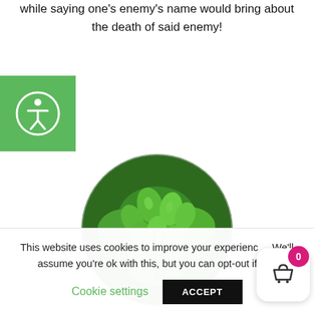while saying one's enemy's name would bring about the death of said enemy!
[Figure (photo): Circular cropped photo of green herb plant (oregano/marjoram) with lush green leaves]
This website uses cookies to improve your experience. We'll assume you're ok with this, but you can opt-out if you
Cookie settings   ACCEPT